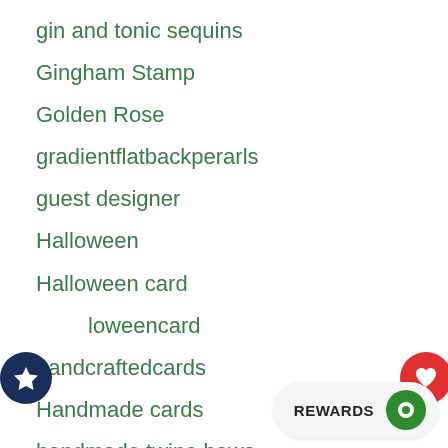gin and tonic sequins
Gingham Stamp
Golden Rose
gradientflatbackperarls
guest designer
Halloween
Halloween card
halloweencard
handcraftedcards
Handmade cards
handmade twine bows
handmadecard
Happy Day Word Topper Die
Happy Fall Y'all Word Topper Die